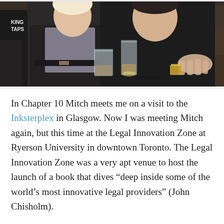[Figure (photo): Two men standing/sitting at a wooden bar table with drinks, in a dimly lit restaurant or bar setting. One man wears a black jacket over a patterned shirt, the other wears a black top. Background shows other patrons and bar seating.]
In Chapter 10 Mitch meets me on a visit to the Inksterplex in Glasgow. Now I was meeting Mitch again, but this time at the Legal Innovation Zone at Ryerson University in downtown Toronto. The Legal Innovation Zone was a very apt venue to host the launch of a book that dives “deep inside some of the world’s most innovative legal providers” (John Chisholm).